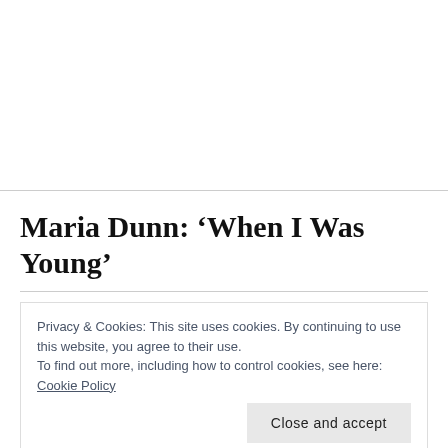[Figure (other): Blank white top section area above the article title, separated by a horizontal rule]
Maria Dunn: ‘When I Was Young’
Privacy & Cookies: This site uses cookies. By continuing to use this website, you agree to their use.
To find out more, including how to control cookies, see here: Cookie Policy
[Close and accept button]
I’ve said it before and I’ll keep on saying it: Maria